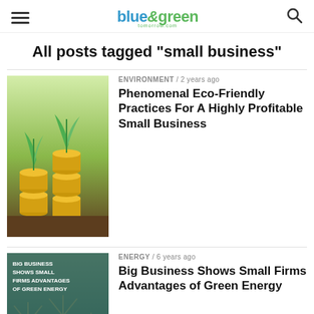blue&green
All posts tagged "small business"
ENVIRONMENT / 2 years ago
Phenomenal Eco-Friendly Practices For A Highly Profitable Small Business
[Figure (photo): Plants growing from stacked gold coins in soil]
ENERGY / 6 years ago
Big Business Shows Small Firms Advantages of Green Energy
[Figure (photo): Green energy wind turbines with text overlay: Big Business Shows Small Firms Advantages of Green Energy]
ECONOMY / 6 years ago
SME Growth Is Threatened As Three In Four Forced To Write Off Debts